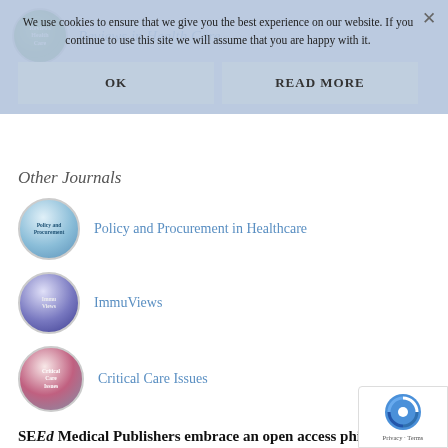[Figure (screenshot): Cookie consent banner overlay with OK and READ MORE buttons, overlaying a medical journal website page showing Reviews in Health Care header logo and title, Other Journals section with Policy and Procurement in Healthcare, ImmuViews, and Critical Care Issues journal entries with circular logos]
Reviews in Health Care
We use cookies to ensure that we give you the best experience on our website. If you continue to use this site we will assume that you are happy with it.
Other Journals
Policy and Procurement in Healthcare
ImmuViews
Critical Care Issues
SEEd Medical Publishers embrace an open access philosophy.
The advantages of open access